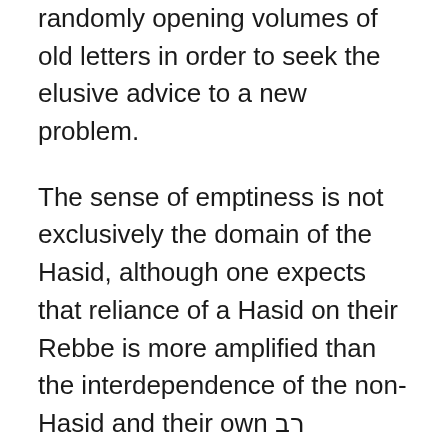randomly opening volumes of old letters in order to seek the elusive advice to a new problem.
The sense of emptiness is not exclusively the domain of the Hasid, although one expects that reliance of a Hasid on their Rebbe is more amplified than the interdependence of the non-Hasid and their own רב המובהק. All Jews are distressed by a grim feeling of dislocation when a רב המובהק, a